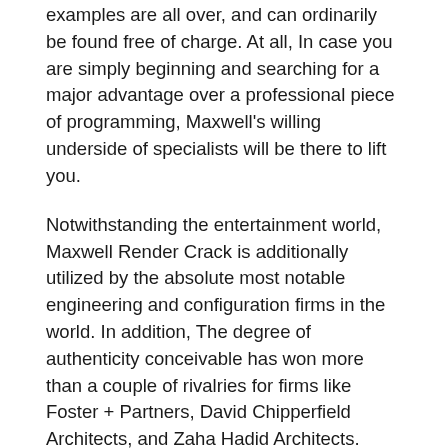examples are all over, and can ordinarily be found free of charge. At all, In case you are simply beginning and searching for a major advantage over a professional piece of programming, Maxwell's willing underside of specialists will be there to lift you.
Notwithstanding the entertainment world, Maxwell Render Crack is additionally utilized by the absolute most notable engineering and configuration firms in the world. In addition, The degree of authenticity conceivable has won more than a couple of rivalries for firms like Foster + Partners, David Chipperfield Architects, and Zaha Hadid Architects. Such as, Maxwell Render Crack is a flat-out staple of the business and will keep on being as long as Next Level Technologies keeps on supporting it, which it unquestionably will. On the other hand, Maxwell isn't the simplest program to become conversant. However, in case, you're willing to invest the energy and depend on the strong local area of specialists. Now, You'll be compensated